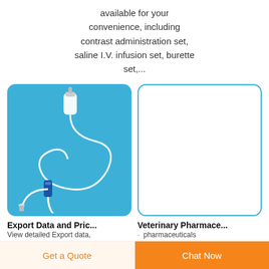available for your convenience, including contrast administration set, saline I.V. infusion set, burette set,...
[Figure (photo): Photo of a saline IV infusion set with tubing, drip chamber, and connectors on a blue background]
[Figure (photo): Empty white box with teal border, representing a veterinary pharmaceutical product image placeholder]
Export Data and Pric...
View detailed Export data,
Veterinary Pharmace...
pharmaceuticals
Get a Quote
Chat Now